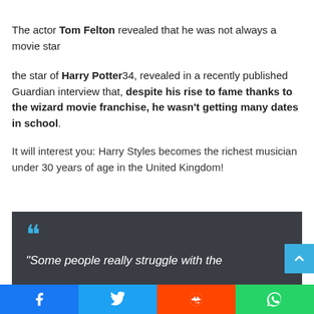The actor Tom Felton revealed that he was not always a movie star
the star of Harry Potter34, revealed in a recently published Guardian interview that, despite his rise to fame thanks to the wizard movie franchise, he wasn’t getting many dates in school.
It will interest you: Harry Styles becomes the richest musician under 30 years of age in the United Kingdom!
[Figure (illustration): Dark grey quote block with large blue quotation mark icon and italic white text beginning “Some people really struggle with the]
Facebook | Twitter | Reddit | WhatsApp social share buttons